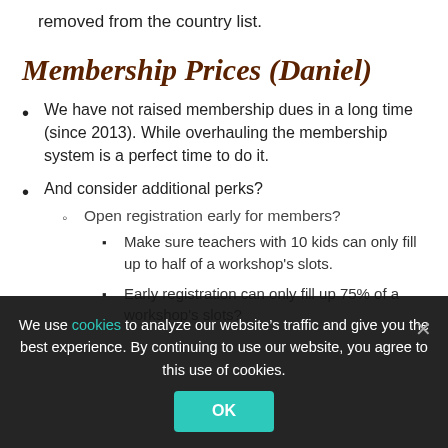removed from the country list.
Membership Prices (Daniel)
We have not raised membership dues in a long time (since 2013). While overhauling the membership system is a perfect time to do it.
And consider additional perks?
Open registration early for members?
Make sure teachers with 10 kids can only fill up to half of a workshop's slots.
Early registration can only fill up 75% of a workshop's slots?
We use cookies to analyze our website’s traffic and give you the best experience. By continuing to use our website, you agree to this use of cookies.